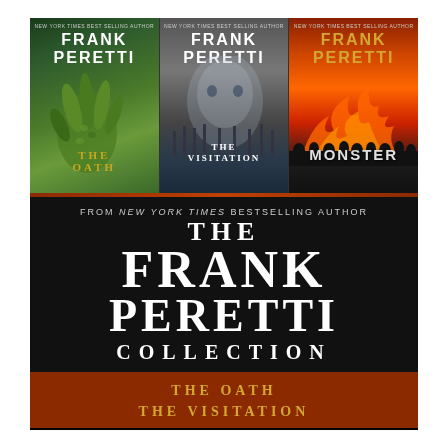[Figure (illustration): Book cover collection image showing three Frank Peretti novel covers side by side (The Oath, The Visitation, Monster), followed by the title 'The Frank Peretti Collection' on a black background, and subtitle listing 'The Oath / The Visitation' on a rust/brown background at the bottom.]